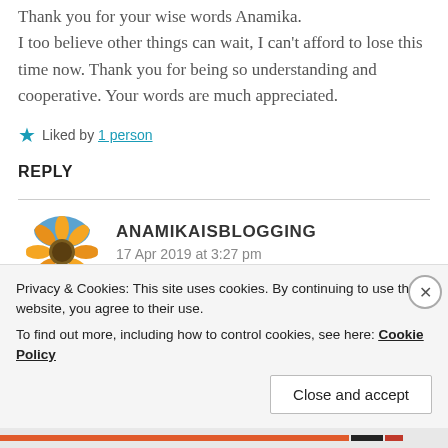Thank you for your wise words Anamika. I too believe other things can wait, I can't afford to lose this time now. Thank you for being so understanding and cooperative. Your words are much appreciated.
★ Liked by 1 person
REPLY
[Figure (illustration): Circular avatar showing a sunflower with orange and yellow petals]
ANAMIKAISBLOGGING
17 Apr 2019 at 3:27 pm
Privacy & Cookies: This site uses cookies. By continuing to use this website, you agree to their use.
To find out more, including how to control cookies, see here: Cookie Policy
Close and accept